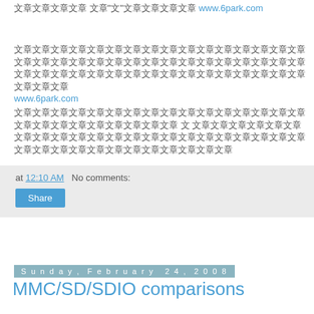文章文章文章 文章"文"文章文章文章文章 www.6park.com
文章文章文章文章文章文章文章文章文章文章文章文章文章文章文章文章文章文章文章文章文章文章文章文章文章 www.6park.com
文章文章文章文章文章文章文章文章文章文章文章文章文章文章文章文章文章文章文章文章文章文章文章文章文章 文章文章文章文章文章文章文章文章文章文章文章文章文章文章文章文章文章文章文章文章文章
at 12:10 AM   No comments:
Share
Sunday, February 24, 2008
MMC/SD/SDIO comparisons
Technical comparison
| Type | MMC | RS-MMC | MMC Plus | SecureMMC |
| --- | --- | --- | --- | --- |
| SD Socket | Yes | Mechanical | Yes | Yes | Ye |